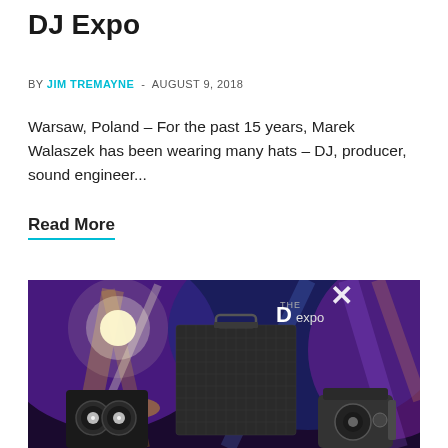DJ Expo
BY JIM TREMAYNE - AUGUST 9, 2018
Warsaw, Poland – For the past 15 years, Marek Walaszek has been wearing many hats – DJ, producer, sound engineer...
Read More
[Figure (photo): Stage lighting photo with DJ equipment including speakers and lighting fixtures in front of a purple and yellow lit stage background, with 'THE DJ EXPO' logo in upper right.]